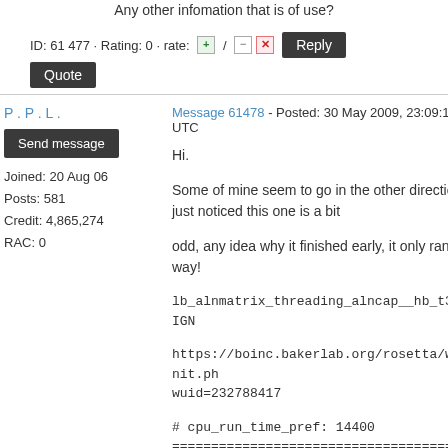Any other infomation that is of use?
ID: 61477 · Rating: 0 · rate: [+] / [-] [x]
Reply
Quote
P . P . L .
Send message
Joined: 20 Aug 06
Posts: 581
Credit: 4,865,274
RAC: 0
Message 61478 - Posted: 30 May 2009, 23:09:10 UTC
Hi.

Some of mine seem to go in the other direction, i just noticed this one is a bit

odd, any idea why it finished early, it only ran half way!

lb_alnmatrix_threading_alncap__hb_t363__IGN

https://boinc.bakerlab.org/rosetta/workunit.ph
wuid=232788417

# cpu_run_time_pref: 14400
================================